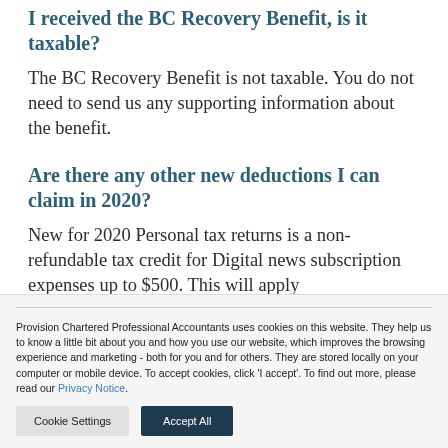I received the BC Recovery Benefit, is it taxable?
The BC Recovery Benefit is not taxable. You do not need to send us any supporting information about the benefit.
Are there any other new deductions I can claim in 2020?
New for 2020 Personal tax returns is a non-refundable tax credit for Digital news subscription expenses up to $500. This will apply
Provision Chartered Professional Accountants uses cookies on this website. They help us to know a little bit about you and how you use our website, which improves the browsing experience and marketing - both for you and for others. They are stored locally on your computer or mobile device. To accept cookies, click 'I accept'. To find out more, please read our Privacy Notice.